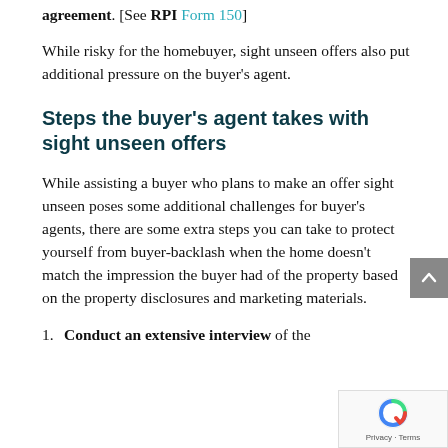agreement. [See RPI Form 150]
While risky for the homebuyer, sight unseen offers also put additional pressure on the buyer's agent.
Steps the buyer's agent takes with sight unseen offers
While assisting a buyer who plans to make an offer sight unseen poses some additional challenges for buyer's agents, there are some extra steps you can take to protect yourself from buyer-backlash when the home doesn't match the impression the buyer had of the property based on the property disclosures and marketing materials.
1. Conduct an extensive interview of the